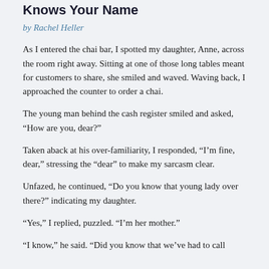Knows Your Name
by Rachel Heller
As I entered the chai bar, I spotted my daughter, Anne, across the room right away. Sitting at one of those long tables meant for customers to share, she smiled and waved. Waving back, I approached the counter to order a chai.
The young man behind the cash register smiled and asked, “How are you, dear?”
Taken aback at his over-familiarity, I responded, “I’m fine, dear,” stressing the “dear” to make my sarcasm clear.
Unfazed, he continued, “Do you know that young lady over there?” indicating my daughter.
“Yes,” I replied, puzzled. “I’m her mother.”
“I know,” he said. “Did you know that we’ve had to call